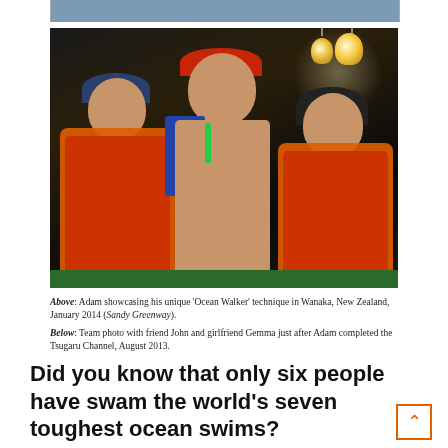[Figure (photo): Team photo at night on a boat: three people posing together. Left person wears a blue cap and orange life vest over red shirt. Center person is a swimmer with red swim cap pushed up, goggles on forehead, shirtless with blue jacket draped over shoulders and green lanyard. Right person wears a dark beanie and orange life vest over red shirt. Bright light bulbs visible in background. Green boat edge visible at bottom.]
Above: Adam showcasing his unique 'Ocean Walker' technique in Wanaka, New Zealand, January 2014 (Sandy Greenway). Below: Team photo with friend John and girlfriend Gemma just after Adam completed the Tsugaru Channel, August 2013.
Did you know that only six people have swam the world's seven toughest ocean swims?